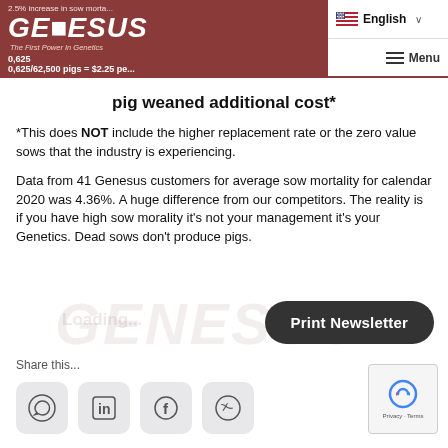Genesus - The First Power In Genetics | English | Menu
pig weaned additional cost*
*This does NOT include the higher replacement rate or the zero value sows that the industry is experiencing.
Data from 41 Genesus customers for average sow mortality for calendar 2020 was 4.36%. A huge difference from our competitors. The reality is if you have high sow morality it’s not your management it’s your Genetics. Dead sows don’t produce pigs.
Share this...
[Figure (other): Social sharing icons: WhatsApp, LinkedIn, Facebook, Twitter]
[Figure (other): reCAPTCHA widget with Privacy and Terms links]